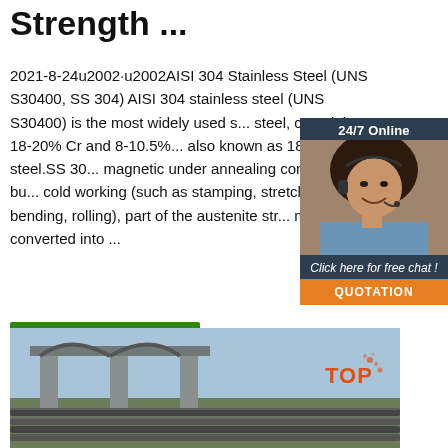Strength ...
2021-8-24u2002·u2002AISI 304 Stainless Steel (UNS S30400, SS 304) AISI 304 stainless steel (UNS S30400) is the most widely used s... steel, containing 18-20% Cr and 8-10.5%... also known as 18-8 stainless steel.SS 30... magnetic under annealing conditions, bu... cold working (such as stamping, stretchi... bending, rolling), part of the austenite str... may be converted into ...
[Figure (infographic): Chat widget with woman wearing headset, dark background, '24/7 Online' header, 'Click here for free chat!' text, orange QUOTATION button]
[Figure (photo): Industrial/infrastructure photo showing steel bars in foreground and elevated highway or bridge structure in background, with TOP badge overlay]
Get Price